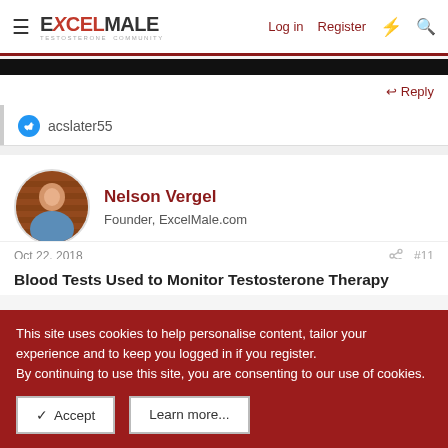ExcelMale — Log in   Register
acslater55
Nelson Vergel
Founder, ExcelMale.com
Oct 22, 2018   #11
Blood Tests Used to Monitor Testosterone Therapy
This site uses cookies to help personalise content, tailor your experience and to keep you logged in if you register.
By continuing to use this site, you are consenting to our use of cookies.